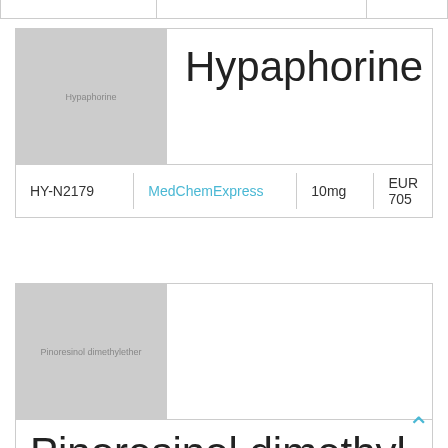|  | Hypaphorine |  |  |
| --- | --- | --- | --- |
| HY-N2179 | MedChemExpress | 10mg | EUR 705 |
[Figure (illustration): Placeholder image for Hypaphorine compound]
Hypaphorine
[Figure (illustration): Placeholder image for Pinoresinol dimethyl ether compound]
Pinoresinol dimethyl ether